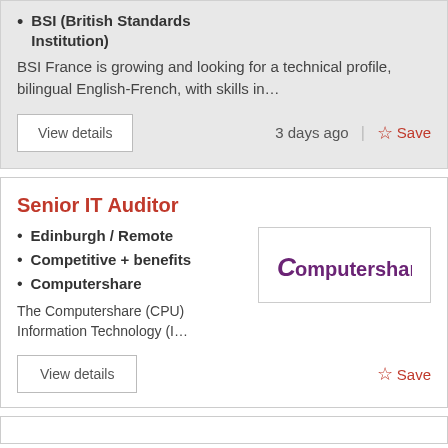BSI (British Standards Institution)
BSI France is growing and looking for a technical profile, bilingual English-French, with skills in…
View details
3 days ago
Save
Senior IT Auditor
Edinburgh / Remote
Competitive + benefits
Computershare
[Figure (logo): Computershare company logo in purple]
The Computershare (CPU) Information Technology (I…
View details
Save